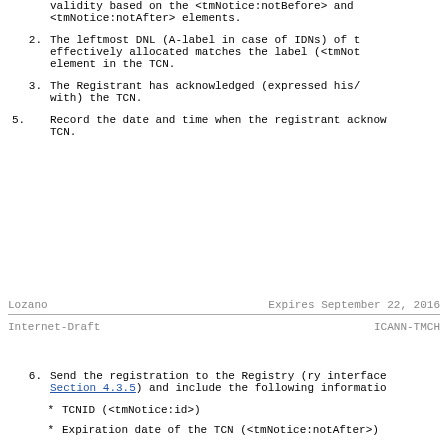validity based on the <tmNotice:notBefore> and <tmNotice:notAfter> elements.
2. The leftmost DNL (A-label in case of IDNs) of t effectively allocated matches the label (<tmNot element in the TCN.
3. The Registrant has acknowledged (expressed his/ with) the TCN.
5. Record the date and time when the registrant acknow TCN.
Lozano                    Expires September 22, 2016
Internet-Draft                        ICANN-TMCH
6. Send the registration to the Registry (ry interface Section 4.3.5) and include the following informatio
* TCNID (<tmNotice:id>)
* Expiration date of the TCN (<tmNotice:notAfter>)